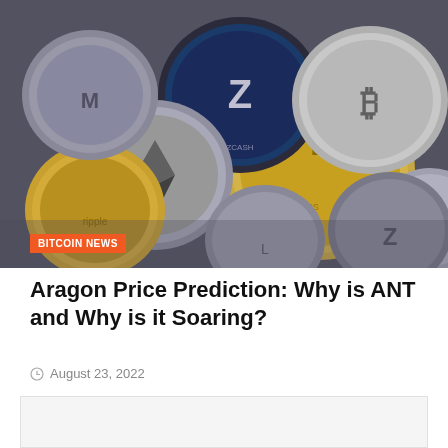[Figure (photo): A pile of various cryptocurrency coins including Bitcoin, Ethereum, Zcash, Litecoin, Ripple and other altcoins on a dark surface]
BITCOIN NEWS
Aragon Price Prediction: Why is ANT and Why is it Soaring?
August 23, 2022
[Figure (other): Advertisement or placeholder block]